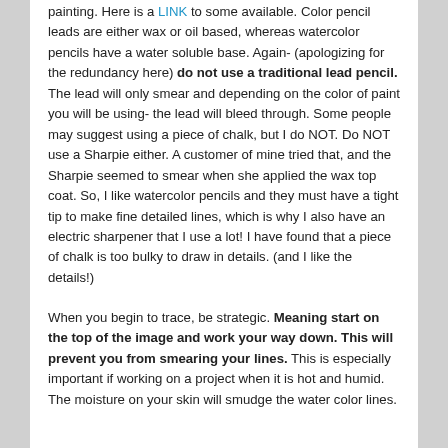painting. Here is a LINK to some available. Color pencil leads are either wax or oil based, whereas watercolor pencils have a water soluble base. Again- (apologizing for the redundancy here) do not use a traditional lead pencil. The lead will only smear and depending on the color of paint you will be using- the lead will bleed through. Some people may suggest using a piece of chalk, but I do NOT. Do NOT use a Sharpie either. A customer of mine tried that, and the Sharpie seemed to smear when she applied the wax top coat. So, I like watercolor pencils and they must have a tight tip to make fine detailed lines, which is why I also have an electric sharpener that I use a lot! I have found that a piece of chalk is too bulky to draw in details. (and I like the details!)
When you begin to trace, be strategic. Meaning start on the top of the image and work your way down. This will prevent you from smearing your lines. This is especially important if working on a project when it is hot and humid. The moisture on your skin will smudge the water color lines.